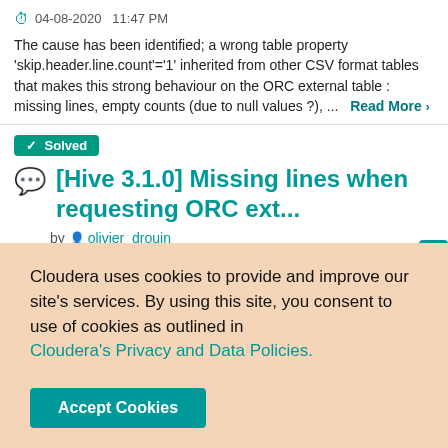04-08-2020  11:47 PM
The cause has been identified; a wrong table property 'skip.header.line.count'='1' inherited from other CSV format tables that makes this strong behaviour on the ORC external table : missing lines, empty counts (due to null values ?), ...  Read More >
✓ Solved
[Hive 3.1.0] Missing lines when requesting ORC ext...
by olivier_drouin_ in Support Questions
04-08-2020  10:49 AM
Hi, we are facing a strange issue with an ORC external Hive table, some lines ca...
Cloudera uses cookies to provide and improve our site's services. By using this site, you consent to use of cookies as outlined in Cloudera's Privacy and Data Policies.
Accept Cookies